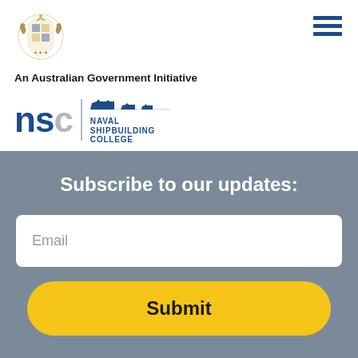[Figure (logo): Australian Government coat of arms crest]
An Australian Government Initiative
[Figure (logo): NSC Naval Shipbuilding College logo with ship silhouettes]
Subscribe to our updates:
Email
Submit
[Figure (logo): NSC Naval Shipbuilding College footer logo (partial, visible at bottom)]